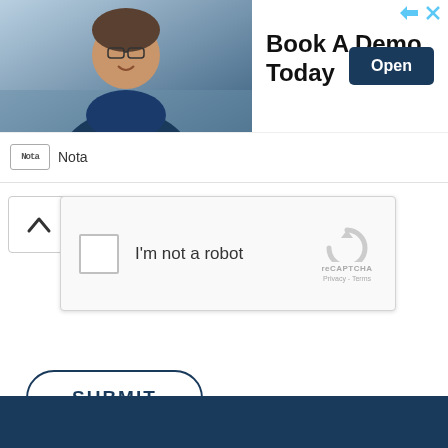[Figure (screenshot): Advertisement banner: photo of a man in glasses sitting at desk, with text 'Book A Demo Today' and an 'Open' button, branded as 'Nota']
[Figure (screenshot): reCAPTCHA widget with 'I'm not a robot' text, checkbox, and reCAPTCHA logo with Privacy - Terms links. Collapse arrow button on the left.]
SUBMIT
[Figure (other): Dark navy blue footer bar at the bottom of the page]